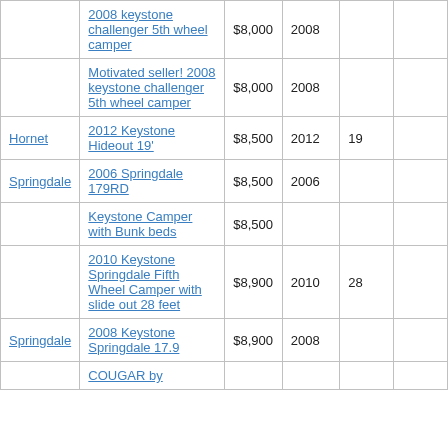|  | 2008 keystone challenger 5th wheel camper | $8,000 | 2008 |  |  |
|  | Motivated seller! 2008 keystone challenger 5th wheel camper | $8,000 | 2008 |  |  |
| Hornet | 2012 Keystone Hideout 19' | $8,500 | 2012 | 19 |  |
| Springdale | 2006 Springdale 179RD | $8,500 | 2006 |  |  |
|  | Keystone Camper with Bunk beds | $8,500 |  |  |  |
|  | 2010 Keystone Springdale Fifth Wheel Camper with slide out 28 feet | $8,900 | 2010 | 28 |  |
| Springdale | 2008 Keystone Springdale 17.9 | $8,900 | 2008 |  |  |
|  | COUGAR by |  |  |  |  |